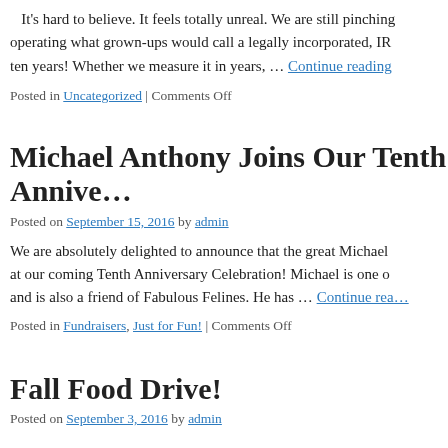It's hard to believe. It feels totally unreal. We are still pinching operating what grown-ups would call a legally incorporated, IR ten years! Whether we measure it in years, … Continue reading
Posted in Uncategorized | Comments Off
Michael Anthony Joins Our Tenth Annive…
Posted on September 15, 2016 by admin
We are absolutely delighted to announce that the great Michael at our coming Tenth Anniversary Celebration! Michael is one o and is also a friend of Fabulous Felines. He has … Continue rea…
Posted in Fundraisers, Just for Fun! | Comments Off
Fall Food Drive!
Posted on September 3, 2016 by admin